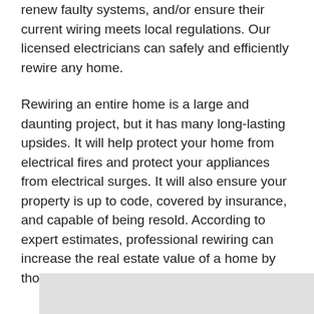renew faulty systems, and/or ensure their current wiring meets local regulations. Our licensed electricians can safely and efficiently rewire any home.
Rewiring an entire home is a large and daunting project, but it has many long-lasting upsides. It will help protect your home from electrical fires and protect your appliances from electrical surges. It will also ensure your property is up to code, covered by insurance, and capable of being resold. According to expert estimates, professional rewiring can increase the real estate value of a home by thousands.
[Figure (photo): Partially visible image with light gray background at the bottom of the page]